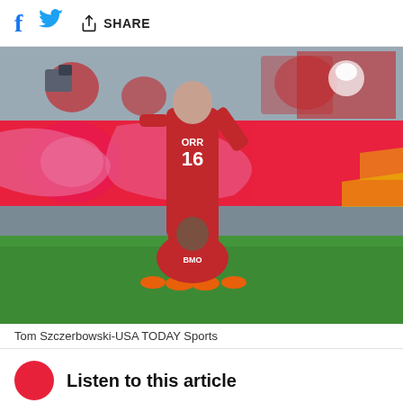f  Share
[Figure (photo): Two Toronto FC soccer players celebrating on the field in front of Red Bulls advertising hoardings. Player wearing #16 ORR jersey stands while another player sits on the ground.]
Tom Szczerbowski-USA TODAY Sports
Listen to this article